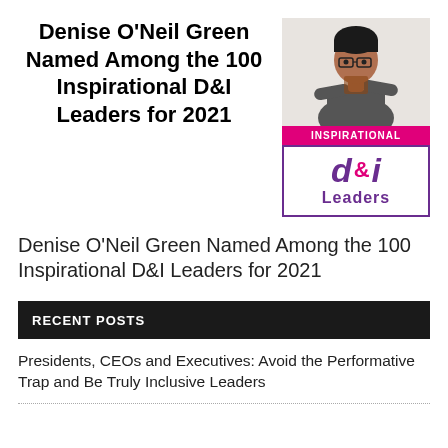Denise O'Neil Green Named Among the 100 Inspirational D&I Leaders for 2021
[Figure (photo): Photo of Denise O'Neil Green, a woman with glasses wearing a grey blazer, arms crossed, next to an 'Inspirational d&i Leaders' award badge with pink and purple branding]
Denise O'Neil Green Named Among the 100 Inspirational D&I Leaders for 2021
RECENT POSTS
Presidents, CEOs and Executives: Avoid the Performative Trap and Be Truly Inclusive Leaders